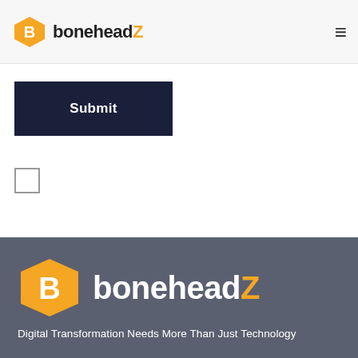boneheadZ
[Figure (logo): boneheadZ logo with orange B icon and text boneheadZ with orange Z]
Submit
[Figure (other): Empty checkbox (square outline)]
boneheadZ — Digital Transformation Needs More Than Just Technology